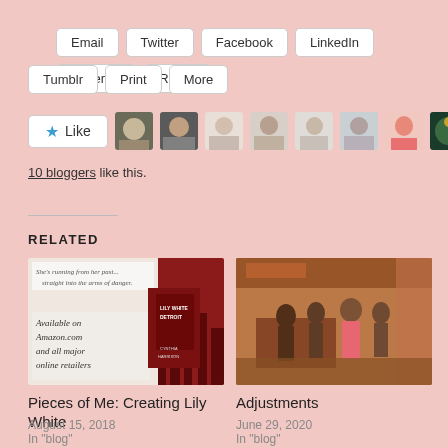Email
Twitter
Facebook
LinkedIn
Pinterest
Reddit
Tumblr
Print
More
10 bloggers like this.
RELATED
[Figure (photo): Book cover for Lily White Detroit by Cynthia Harrison, available on Amazon.com and all major online retailers]
Pieces of Me: Creating Lily White
August 15, 2018
In "blog"
[Figure (photo): People at a bar or restaurant interior]
Adjustments
June 29, 2020
In "blog"